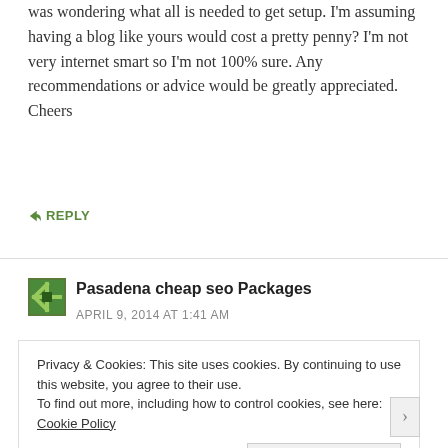was wondering what all is needed to get setup. I'm assuming having a blog like yours would cost a pretty penny? I'm not very internet smart so I'm not 100% sure. Any recommendations or advice would be greatly appreciated. Cheers
↪ REPLY
Pasadena cheap seo Packages
APRIL 9, 2014 AT 1:41 AM
Nice blog! Is your theme custom made or did you
Privacy & Cookies: This site uses cookies. By continuing to use this website, you agree to their use. To find out more, including how to control cookies, see here: Cookie Policy
Close and accept